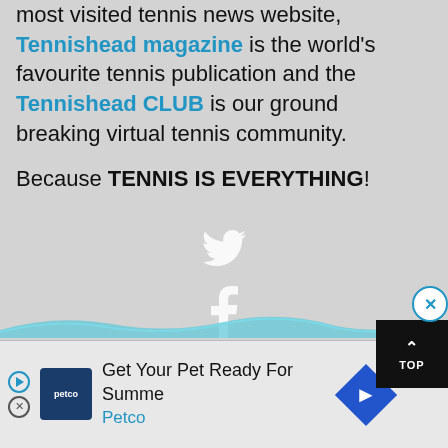most visited tennis news website, Tennishead magazine is the world's favourite tennis publication and the Tennishead CLUB is our ground breaking virtual tennis community.

Because TENNIS IS EVERYTHING!
[Figure (illustration): Social media icons stacked vertically: Twitter bird, Facebook f, YouTube logo, Instagram camera — all white on gray background]
[Figure (illustration): Blue wavy decorative line separating content from ad bar]
[Figure (illustration): Advertisement bar: Petco logo, text 'Get Your Pet Ready For Summe Petco', blue diamond arrow icon, close X button, play button]